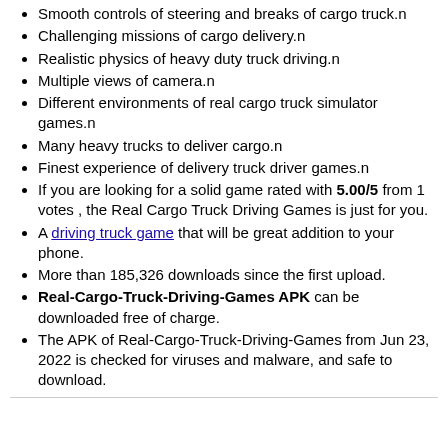Smooth controls of steering and breaks of cargo truck.n
Challenging missions of cargo delivery.n
Realistic physics of heavy duty truck driving.n
Multiple views of camera.n
Different environments of real cargo truck simulator games.n
Many heavy trucks to deliver cargo.n
Finest experience of delivery truck driver games.n
If you are looking for a solid game rated with 5.00/5 from 1 votes , the Real Cargo Truck Driving Games is just for you.
A driving truck game that will be great addition to your phone.
More than 185,326 downloads since the first upload.
Real-Cargo-Truck-Driving-Games APK can be downloaded free of charge.
The APK of Real-Cargo-Truck-Driving-Games from Jun 23, 2022 is checked for viruses and malware, and safe to download.